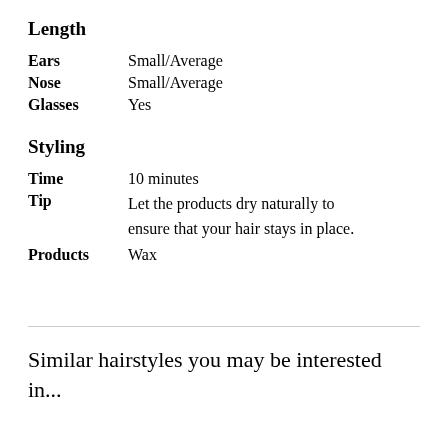Length
Ears   Small/Average
Nose   Small/Average
Glasses   Yes
Styling
Time   10 minutes
Tip   Let the products dry naturally to ensure that your hair stays in place.
Products   Wax
Similar hairstyles you may be interested in...